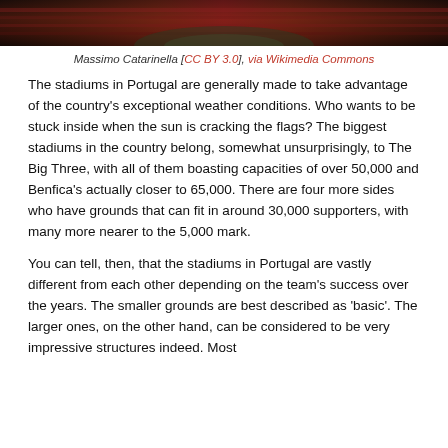[Figure (photo): Aerial or wide-angle photo of a stadium, showing stands filled with spectators in red and dark colors.]
Massimo Catarinella [CC BY 3.0], via Wikimedia Commons
The stadiums in Portugal are generally made to take advantage of the country's exceptional weather conditions. Who wants to be stuck inside when the sun is cracking the flags? The biggest stadiums in the country belong, somewhat unsurprisingly, to The Big Three, with all of them boasting capacities of over 50,000 and Benfica's actually closer to 65,000. There are four more sides who have grounds that can fit in around 30,000 supporters, with many more nearer to the 5,000 mark.
You can tell, then, that the stadiums in Portugal are vastly different from each other depending on the team's success over the years. The smaller grounds are best described as 'basic'. The larger ones, on the other hand, can be considered to be very impressive structures indeed. Most